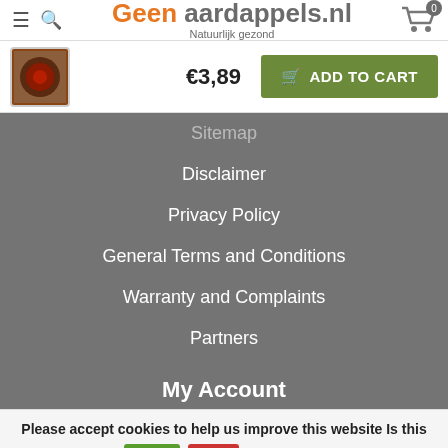Geen aardappels.nl — Natuurlijk gezond
[Figure (screenshot): Product thumbnail with dark circular product image on brown background]
€3,89
ADD TO CART
Sitemap (partially visible)
Disclaimer
Privacy Policy
General Terms and Conditions
Warranty and Complaints
Partners
My Account
Please accept cookies to help us improve this website Is this OK?
Yes
No
More on cookies »